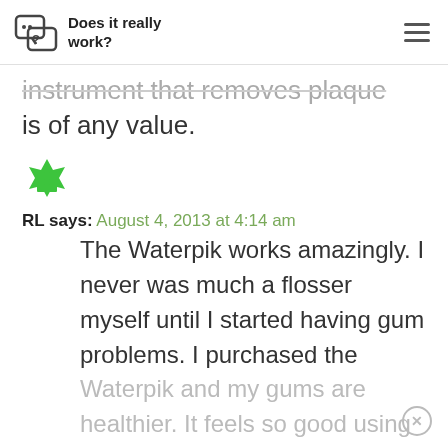Does it really work?
instrument that removes plaque is of any value.
RL says: August 4, 2013 at 4:14 am
The Waterpik works amazingly. I never was much a flosser myself until I started having gum problems. I purchased the Waterpik and my gums are healthier. It feels so good using